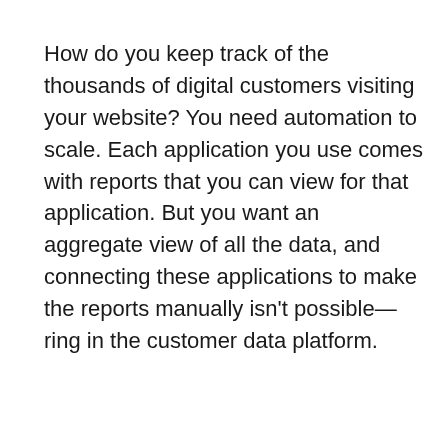How do you keep track of the thousands of digital customers visiting your website? You need automation to scale. Each application you use comes with reports that you can view for that application. But you want an aggregate view of all the data, and connecting these applications to make the reports manually isn't possible—ring in the customer data platform.